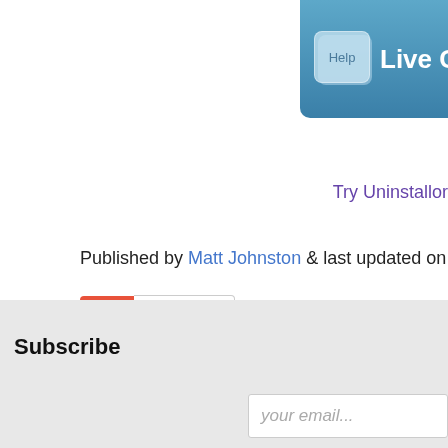[Figure (screenshot): Live Chat with button banner in blue gradient with Help speech bubble icon]
Try Uninstallon
Published by Matt Johnston & last updated on May 6, 2020
[Figure (infographic): Vote widget with orange plus button and count of 0]
Leave a Re
You must be logged in to post a comment.
Subscribe
your email...